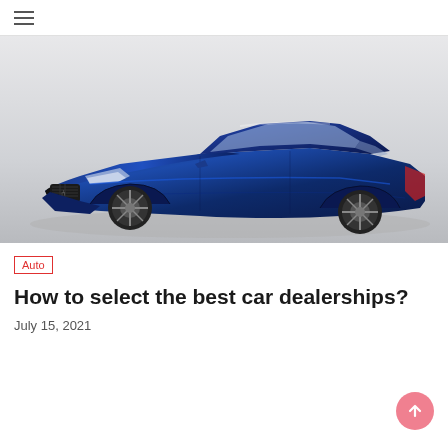≡ (hamburger menu)
[Figure (photo): A blue Maserati Ghibli sedan photographed from a front-three-quarter angle on a light grey background. The car is a luxury four-door sedan with distinctive Maserati grille, large alloy wheels, and glossy deep blue paint.]
Auto
How to select the best car dealerships?
July 15, 2021